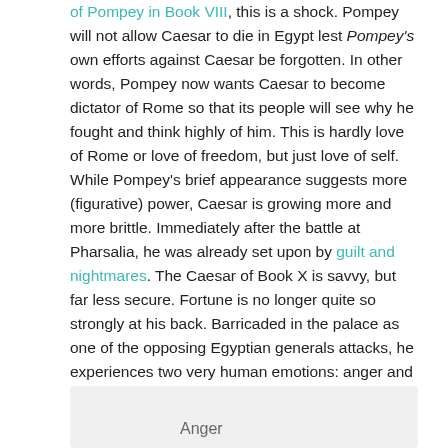of Pompey in Book VIII, this is a shock. Pompey will not allow Caesar to die in Egypt lest Pompey's own efforts against Caesar be forgotten. In other words, Pompey now wants Caesar to become dictator of Rome so that its people will see why he fought and think highly of him. This is hardly love of Rome or love of freedom, but just love of self. While Pompey's brief appearance suggests more (figurative) power, Caesar is growing more and more brittle. Immediately after the battle at Pharsalia, he was already set upon by guilt and nightmares. The Caesar of Book X is savvy, but far less secure. Fortune is no longer quite so strongly at his back. Barricaded in the palace as one of the opposing Egyptian generals attacks, he experiences two very human emotions: anger and fear, reinforcing each other in a vicious circle.
Anger